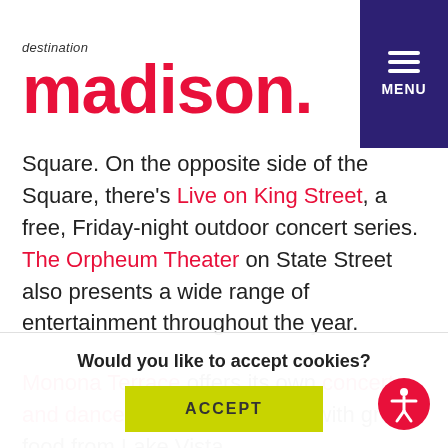[Figure (logo): Destination Madison logo with red 'madison' text and 'destination' in grey italic above]
Square. On the opposite side of the Square, there's Live on King Street, a free, Friday-night outdoor concert series. The Orpheum Theater on State Street also presents a wide range of entertainment throughout the year.
Monona Terrace offers its own concerts and dance events in summer, with great food from Lake Vista
Would you like to accept cookies?
ACCEPT